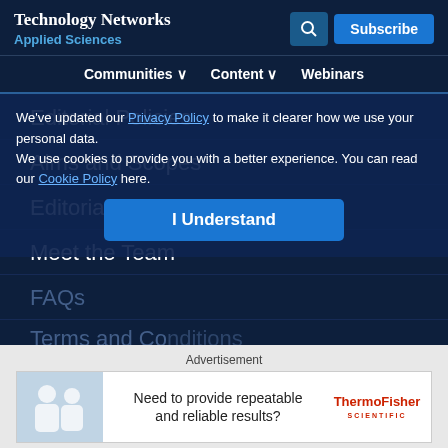Technology Networks Applied Sciences
Editorial Policies
Aims and Scopes
Editorial Guidelines
Meet the Team
We've updated our Privacy Policy to make it clearer how we use your personal data.
We use cookies to provide you with a better experience. You can read our Cookie Policy here.
FAQs
Terms and Conditions
Advertisement
Need to provide repeatable and reliable results?